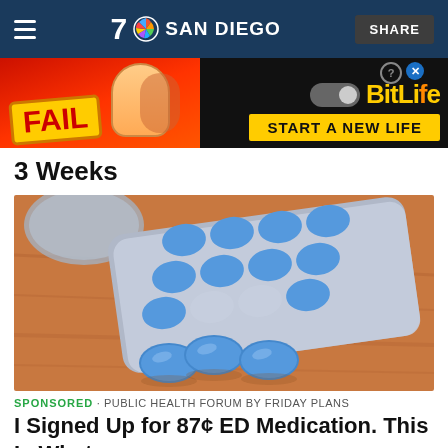7 SAN DIEGO  SHARE
[Figure (screenshot): Advertisement banner: BitLife 'FAIL - START A NEW LIFE' game advertisement with cartoon character and flame graphics]
3 Weeks
[Figure (photo): Blue ED medication pills on a wooden surface, some in a silver blister pack and three loose pills in the foreground]
SPONSORED · PUBLIC HEALTH FORUM BY FRIDAY PLANS
I Signed Up for 87¢ ED Medication. This Is What